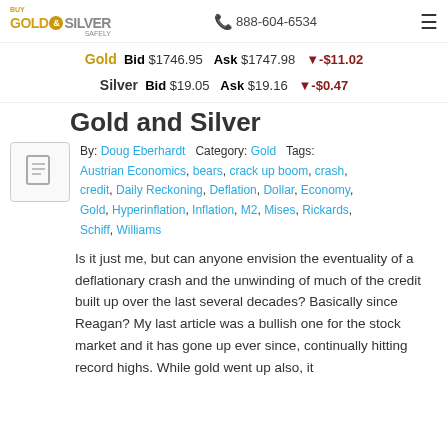BUY GOLD & SILVER SAFELY | 888-604-6534
Gold  Bid $1746.95  Ask $1747.98  ▼-$11.02
Silver  Bid $19.05  Ask $19.16  ▼-$0.47
Gold and Silver
[Figure (other): Article thumbnail placeholder icon]
By: Doug Eberhardt   Category: Gold   Tags: Austrian Economics, bears, crack up boom, crash, credit, Daily Reckoning, Deflation, Dollar, Economy, Gold, Hyperinflation, Inflation, M2, Mises, Rickards, Schiff, Williams
Is it just me, but can anyone envision the eventuality of a deflationary crash and the unwinding of much of the credit built up over the last several decades? Basically since Reagan? My last article was a bullish one for the stock market and it has gone up ever since, continually hitting record highs. While gold went up also, it